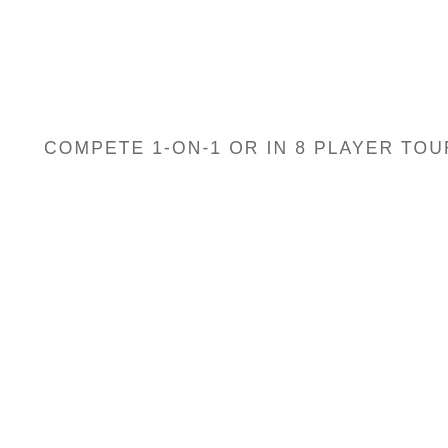COMPETE 1-ON-1 OR IN 8 PLAYER TOURNAMENTS